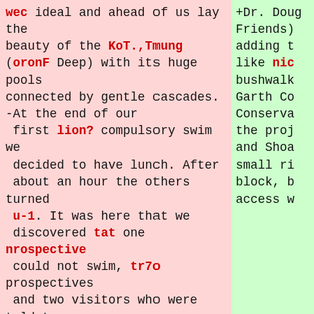wec ideal and ahead of us lay the beauty of the KoT.,Tmung (oronF Deep) with its huge pools connected by gentle cascades. -At the end of our first lion? compulsory swim we decided to have lunch. After about an hour the others turned u-1. It was here that we discovered tat one nrospective could not swim, tr7o prospectives and two visitors who were told to wear sandshoes turned ul? in flimsy or incorrect shoes, and later paid for not heeding advice. Ken, foreseeing it was going to be a long trip for the slower ones, suneste?: that the ten of us should go ahead and wait at the cars, whilst
+Dr. Doug Friends) adding t like nic bushwalk Garth Co Conserva the proj and Shoa small ri block, b access w